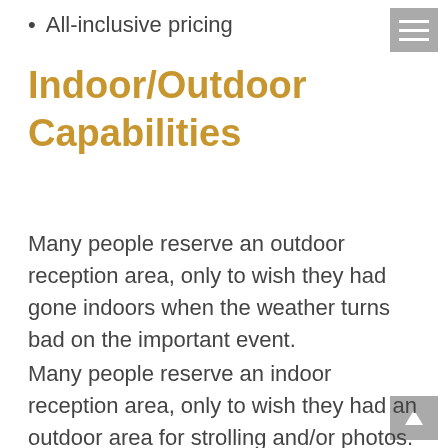All-inclusive pricing
Indoor/Outdoor Capabilities
Many people reserve an outdoor reception area, only to wish they had gone indoors when the weather turns bad on the important event.
Many people reserve an indoor reception area, only to wish they had an outdoor area for strolling and/or photos.
The smart people find look at wedding reception venues which have